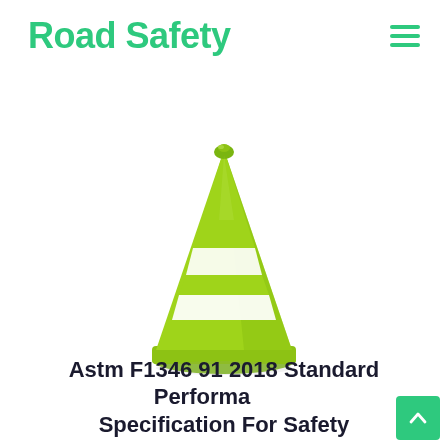Road Safety
[Figure (photo): A lime/chartreuse green traffic safety cone with two white reflective bands near the top, standing on a square base, photographed on a white background.]
Astm F1346 91 2018 Standard Performance Specification For Safety